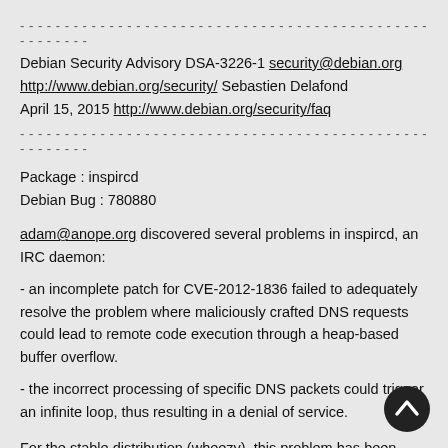- ----------------------------------------------------------------------------------------
Debian Security Advisory DSA-3226-1 security@debian.org
http://www.debian.org/security/ Sebastien Delafond
April 15, 2015 http://www.debian.org/security/faq
- ----------------------------------------------------------------------------------------
Package : inspircd
Debian Bug : 780880
adam@anope.org discovered several problems in inspircd, an IRC daemon:
- an incomplete patch for CVE-2012-1836 failed to adequately resolve the problem where maliciously crafted DNS requests could lead to remote code execution through a heap-based buffer overflow.
- the incorrect processing of specific DNS packets could trigger an infinite loop, thus resulting in a denial of service.
For the stable distribution (wheezy), this problem has been fixed in version 2.0.5-1+deb7u1.